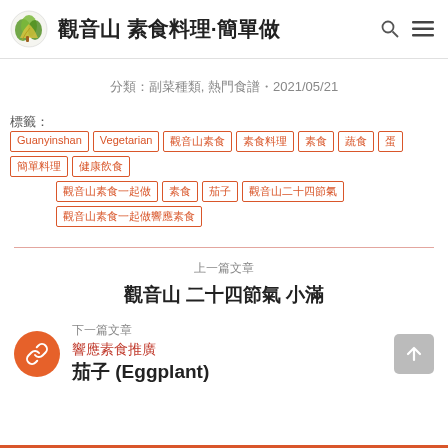觀音山 素食料理·簡單做
分類：副菜種類, 熱門食譜・2021/05/21
標籤：Guanyinshan Vegetarian 觀音山素食 素食料理 素食 蔬食 蛋 簡單料理 健康飲食 觀音山素食一起做 素食 茄子 觀音山二十四節氣 觀音山素食一起做響應素食
上一篇文章
觀音山 二十四節氣 小滿
下一篇文章
響應素食推廣 茄子 (Eggplant)